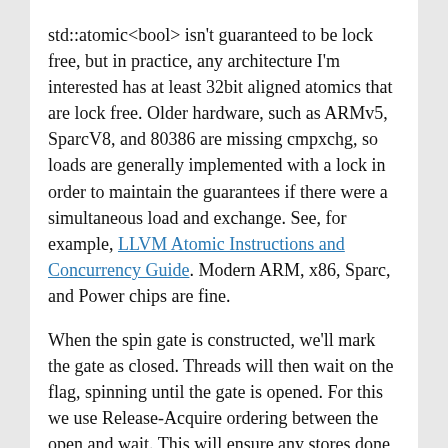std::atomic<bool> isn't guaranteed to be lock free, but in practice, any architecture I'm interested has at least 32bit aligned atomics that are lock free. Older hardware, such as ARMv5, SparcV8, and 80386 are missing cmpxchg, so loads are generally implemented with a lock in order to maintain the guarantees if there were a simultaneous load and exchange. See, for example, LLVM Atomic Instructions and Concurrency Guide. Modern ARM, x86, Sparc, and Power chips are fine.
When the spin gate is constructed, we'll mark the gate as closed. Threads will then wait on the flag, spinning until the gate is opened. For this we use Release-Acquire ordering between the open and wait. This will ensure any stores done before the gate is opened will be visible to the thread waiting.
// spingate.h
#ifndef INCLUDED_SPINGATE
#define INCLUDED_SPINGATE
#include <atomic>